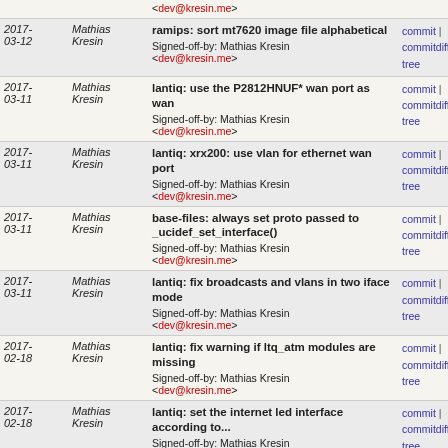| Date | Author | Commit message | Links |
| --- | --- | --- | --- |
| 2017-03-12 | Mathias Kresin | ramips: sort mt7620 image file alphabetical
Signed-off-by: Mathias Kresin <dev@kresin.me> | commit | commitdiff | tree |
| 2017-03-11 | Mathias Kresin | lantiq: use the P2812HNUF* wan port as wan
Signed-off-by: Mathias Kresin <dev@kresin.me> | commit | commitdiff | tree |
| 2017-03-11 | Mathias Kresin | lantiq: xrx200: use vlan for ethernet wan port
Signed-off-by: Mathias Kresin <dev@kresin.me> | commit | commitdiff | tree |
| 2017-03-11 | Mathias Kresin | base-files: always set proto passed to _ucidef_set_interface()
Signed-off-by: Mathias Kresin <dev@kresin.me> | commit | commitdiff | tree |
| 2017-03-11 | Mathias Kresin | lantiq: fix broadcasts and vlans in two iface mode
Signed-off-by: Mathias Kresin <dev@kresin.me> | commit | commitdiff | tree |
| 2017-02-18 | Mathias Kresin | lantiq: fix warning if ltq_atm modules are missing
Signed-off-by: Mathias Kresin <dev@kresin.me> | commit | commitdiff | tree |
| 2017-02-18 | Mathias Kresin | lantiq: set the internet led interface according to...
Signed-off-by: Mathias Kresin | commit | commitdiff | tree |